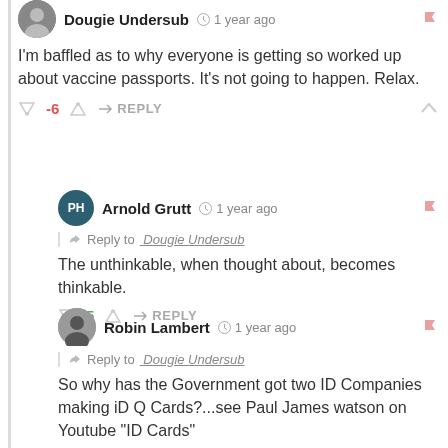Dougie Undersub · 1 year ago
I'm baffled as to why everyone is getting so worked up about vaccine passports. It's not going to happen. Relax.
-6
Arnold Grutt · 1 year ago
Reply to Dougie Undersub
The unthinkable, when thought about, becomes thinkable.
5
Robin Lambert · 1 year ago
Reply to Dougie Undersub
So why has the Government got two ID Companies making iD Q Cards?...see Paul James watson on Youtube "ID Cards"
0